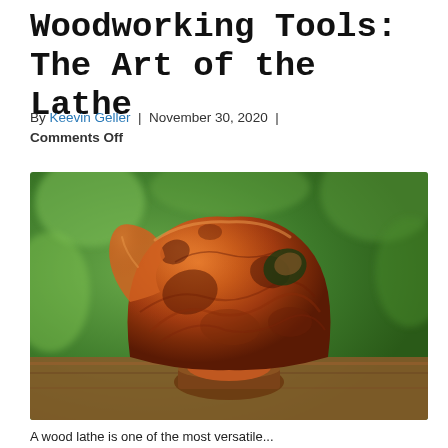Woodworking Tools: The Art of the Lathe
By Keevin Geller | November 30, 2020 | Comments Off
[Figure (photo): A beautifully turned wooden bowl with organic free-form edges and rich reddish-brown burl wood grain, sitting on a wooden surface with a green blurred background.]
A wood lathe is one of the most versatile...